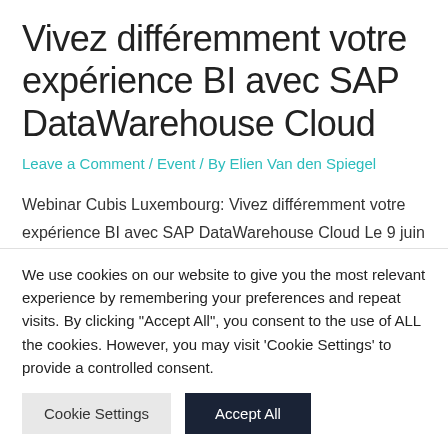Vivez différemment votre expérience BI avec SAP DataWarehouse Cloud
Leave a Comment / Event / By Elien Van den Spiegel
Webinar Cubis Luxembourg: Vivez différemment votre expérience BI avec SAP DataWarehouse Cloud Le 9 juin 2022, à 15 heures, nous organiserons un webinar sur le thème de "Vivez différemment votre expérience BI avec SAP DataWarehouse
We use cookies on our website to give you the most relevant experience by remembering your preferences and repeat visits. By clicking "Accept All", you consent to the use of ALL the cookies. However, you may visit 'Cookie Settings' to provide a controlled consent.